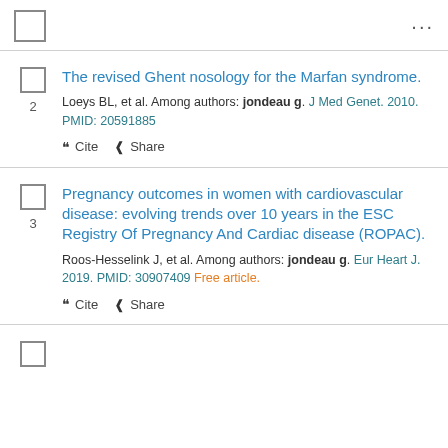The revised Ghent nosology for the Marfan syndrome. Loeys BL, et al. Among authors: jondeau g. J Med Genet. 2010. PMID: 20591885
Pregnancy outcomes in women with cardiovascular disease: evolving trends over 10 years in the ESC Registry Of Pregnancy And Cardiac disease (ROPAC). Roos-Hesselink J, et al. Among authors: jondeau g. Eur Heart J. 2019. PMID: 30907409 Free article.